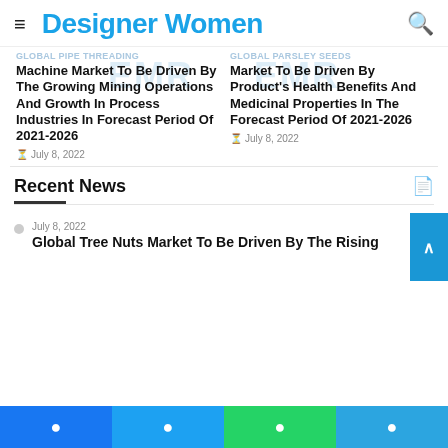Designer Women
Global Pipe Threading Machine Market To Be Driven By The Growing Mining Operations And Growth In Process Industries In Forecast Period Of 2021–2026
July 8, 2022
Global Parsley Seeds Market To Be Driven By Product's Health Benefits And Medicinal Properties In The Forecast Period Of 2021–2026
July 8, 2022
Recent News
July 8, 2022
Global Tree Nuts Market To Be Driven By The Rising